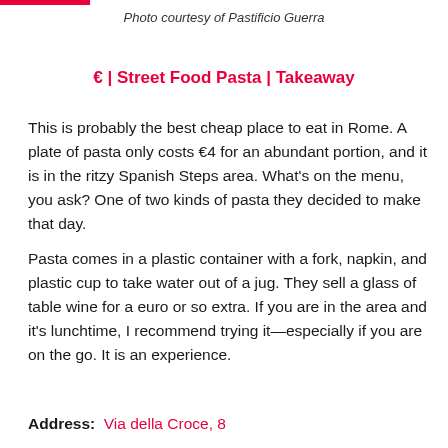Photo courtesy of Pastificio Guerra
€ | Street Food Pasta | Takeaway
This is probably the best cheap place to eat in Rome. A plate of pasta only costs €4 for an abundant portion, and it is in the ritzy Spanish Steps area. What's on the menu, you ask? One of two kinds of pasta they decided to make that day.
Pasta comes in a plastic container with a fork, napkin, and plastic cup to take water out of a jug. They sell a glass of table wine for a euro or so extra. If you are in the area and it's lunchtime, I recommend trying it—especially if you are on the go. It is an experience.
Address: Via della Croce, 8